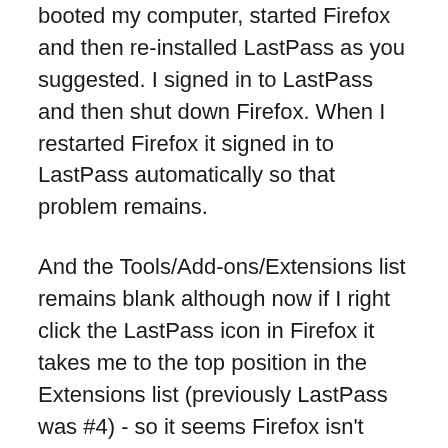booted my computer, started Firefox and then re-installed LastPass as you suggested. I signed in to LastPass and then shut down Firefox. When I restarted Firefox it signed in to LastPass automatically so that problem remains.
And the Tools/Add-ons/Extensions list remains blank although now if I right click the LastPass icon in Firefox it takes me to the top position in the Extensions list (previously LastPass was #4) - so it seems Firefox isn't displaying the entries in the list but knows which ones should be there and their positions.
I never noticed a problem with extensions during this recent Firefox issue and the only obvious problem now is the automatic sign-in to Lastpass